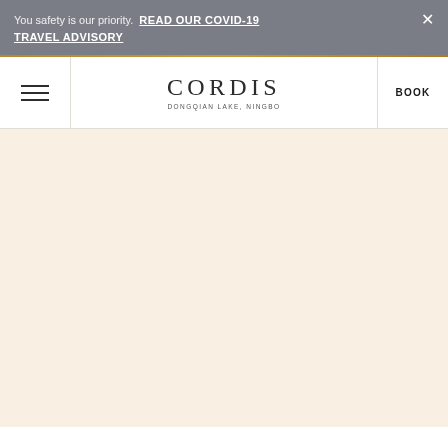You safety is our priority. READ OUR COVID-19 TRAVEL ADVISORY
[Figure (logo): Cordis Dongqian Lake, Ningbo hotel logo with hamburger menu and BOOK button in navigation bar]
[Figure (photo): Cream/beige background content area, largely empty]